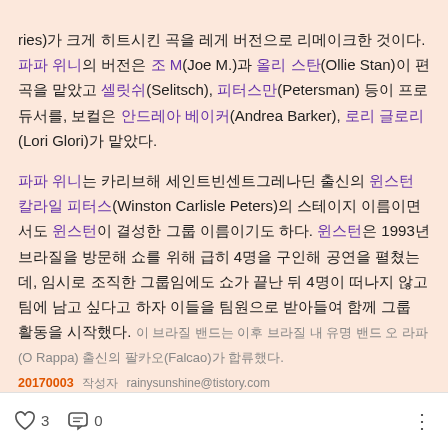ries)가 크게 히트시킨 곡을 레게 버전으로 리메이크한 것이다. 파파 위니의 버전은 조 M(Joe M.)과 올리 스탄(Ollie Stan)이 편곡을 맡았고 셀릿쉬(Selitsch), 피터스만(Petersman) 등이 프로듀서를, 보컬은 안드레아 베이커(Andrea Barker), 로리 글로리(Lori Glori)가 맡았다.

파파 위니는 카리브해 세인트빈센트그레나딘 출신의 윈스턴 칼라일 피터스(Winston Carlisle Peters)의 스테이지 이름이면서도 윈스턴이 결성한 그룹 이름이기도 하다. 윈스턴은 1993년 브라질을 방문해 쇼를 위해 급히 4명을 구인해 공연을 펼쳤는데, 임시로 조직한 그룹임에도 쇼가 끝난 뒤 4명이 떠나지 않고 팀에 남고 싶다고 하자 이들을 팀원으로 받아들여 함께 그룹 활동을 시작했다. 이 브라질 밴드는 이후 브라질 내 유명 밴드 오 라파(O Rappa) 출신의 팔카오(Falcao)가 합류했다.
20170003 작성자 rainysunshine@tistory.com   ♡ 3   💬 0